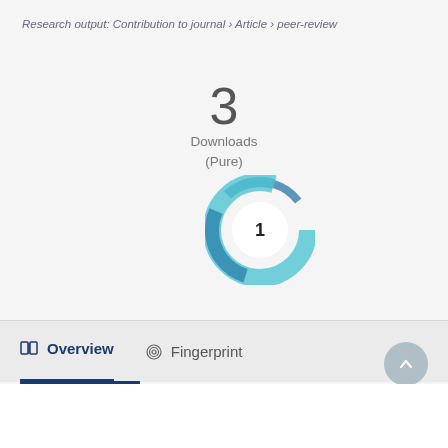Research output: Contribution to journal › Article › peer-review
3
Downloads
(Pure)
[Figure (other): Altmetric donut badge showing the number 1, rendered as a teal/blue swirling ring with a white center circle containing the number 1]
Overview   Fingerprint
Abstract